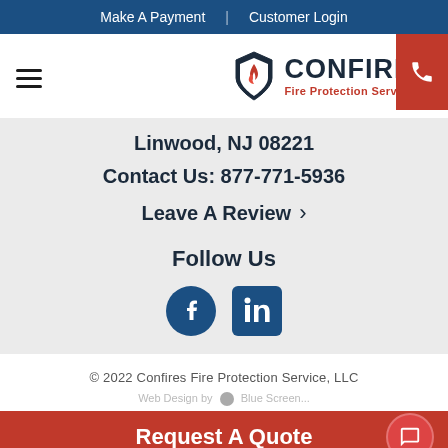Make A Payment | Customer Login
[Figure (logo): Confires Fire Protection Service logo with shield and flame icon]
Linwood, NJ 08221
Contact Us: 877-771-5936
Leave A Review >
Follow Us
[Figure (other): Facebook and LinkedIn social media icons]
© 2022 Confires Fire Protection Service, LLC
Request A Quote